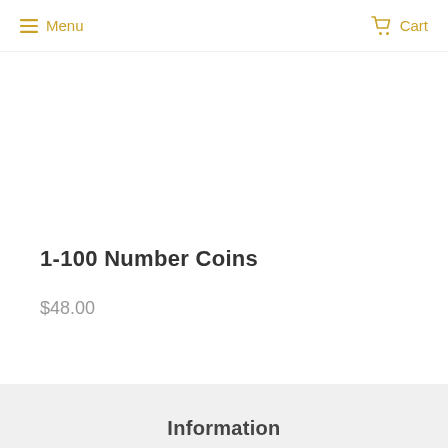Menu   Cart
1-100 Number Coins
$48.00
Information